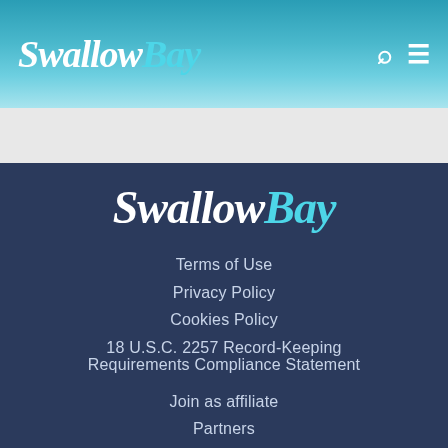SwallowBay
[Figure (logo): SwallowBay logo centered in dark blue footer section]
Terms of Use
Privacy Policy
Cookies Policy
18 U.S.C. 2257 Record-Keeping Requirements Compliance Statement
Join as affiliate
Partners